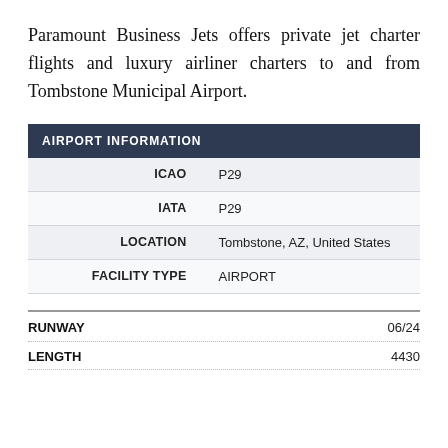Paramount Business Jets offers private jet charter flights and luxury airliner charters to and from Tombstone Municipal Airport.
| AIRPORT INFORMATION |  |
| --- | --- |
| ICAO | P29 |
| IATA | P29 |
| LOCATION | Tombstone, AZ, United States |
| FACILITY TYPE | AIRPORT |
| RUNWAY | 06/24 |
| --- | --- |
| LENGTH | 4430 |